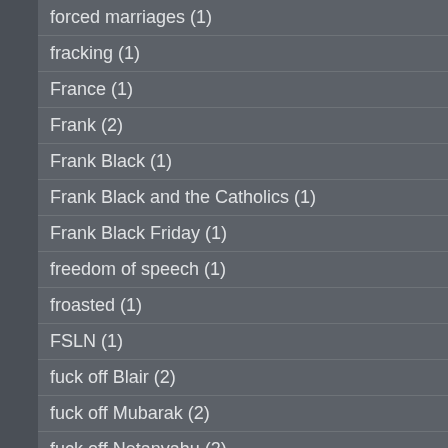forced marriages (1)
fracking (1)
France (1)
Frank (2)
Frank Black (1)
Frank Black and the Catholics (1)
Frank Black Friday (1)
freedom of speech (1)
froasted (1)
FSLN (1)
fuck off Blair (2)
fuck off Mubarak (2)
fuck off Netanyahu (2)
fuck off Obama (2)
fuck you (1)
fucking scum (3)
fuckity (1)